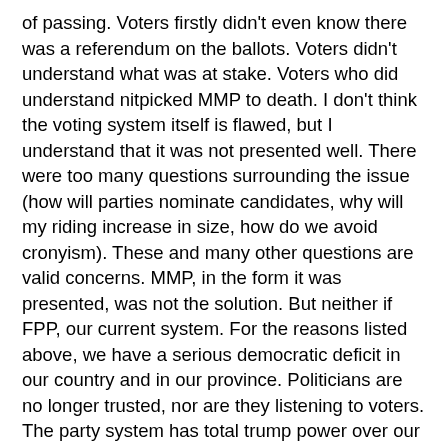of passing. Voters firstly didn't even know there was a referendum on the ballots. Voters didn't understand what was at stake. Voters who did understand nitpicked MMP to death. I don't think the voting system itself is flawed, but I understand that it was not presented well. There were too many questions surrounding the issue (how will parties nominate candidates, why will my riding increase in size, how do we avoid cronyism). These and many other questions are valid concerns. MMP, in the form it was presented, was not the solution. But neither if FPP, our current system. For the reasons listed above, we have a serious democratic deficit in our country and in our province. Politicians are no longer trusted, nor are they listening to voters. The party system has total trump power over our system. Individual concerns are rarely heard, and when they are, it is often at the hands of a minority group of people. The solutions are not simple ones - I do sincerely hope that Mr. McGuinty and other politicians realize that the enemy is not sitting across the aisle, but rather starring back at each and everyone of them in the mirror. At 52% voter turnout, the apathy of our electorate is truly the biggest threat to our democratic system. Let's just hope that these supposed